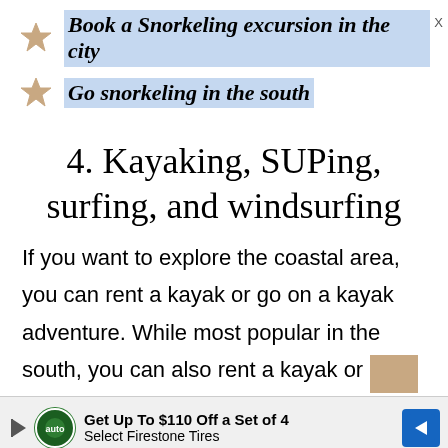Book a Snorkeling excursion in the city
Go snorkeling in the south
4. Kayaking, SUPing, surfing, and windsurfing
If you want to explore the coastal area, you can rent a kayak or go on a kayak adventure. While most popular in the south, you can also rent a kayak or SUP in other places around the island.
Other popular watersports are windsurfing and surfing. If you are just learning to surf, the so...
[Figure (other): Advertisement banner: Get Up To $110 Off a Set of 4 Select Firestone Tires with logo and navigation arrow icon]